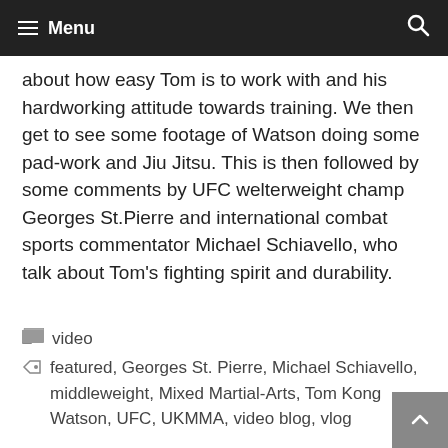Menu
about how easy Tom is to work with and his hardworking attitude towards training. We then get to see some footage of Watson doing some pad-work and Jiu Jitsu. This is then followed by some comments by UFC welterweight champ Georges St.Pierre and international combat sports commentator Michael Schiavello, who talk about Tom’s fighting spirit and durability.
video
featured, Georges St. Pierre, Michael Schiavello, middleweight, Mixed Martial-Arts, Tom Kong Watson, UFC, UKMMA, video blog, vlog